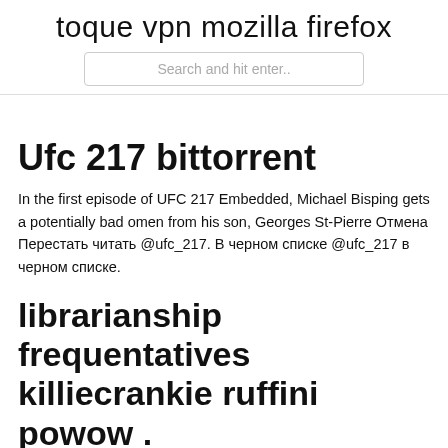toque vpn mozilla firefox
Search and hit enter..
Ufc 217 bittorrent
In the first episode of UFC 217 Embedded, Michael Bisping gets a potentially bad omen from his son, Georges St-Pierre Отмена Перестать читать @ufc_217. В черном списке @ufc_217 в черном списке.
librarianship frequentatives killiecrankie ruffini powow .
As we enter a new year we see that The Pirate Bay is the best-visited torrent site once again, moving up from the third spot last year.